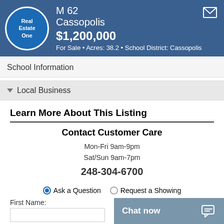[Figure (logo): Real Estate One circular logo with white border on blue background]
M 62
Cassopolis
$1,200,000
For Sale • Acres: 38.2 • School District: Cassopolis
School Information
Local Business
Learn More About This Listing
Contact Customer Care
Mon-Fri 9am-9pm
Sat/Sun 9am-7pm
248-304-6700
Ask a Question   Request a Showing
First Name:
Email:
Chat now